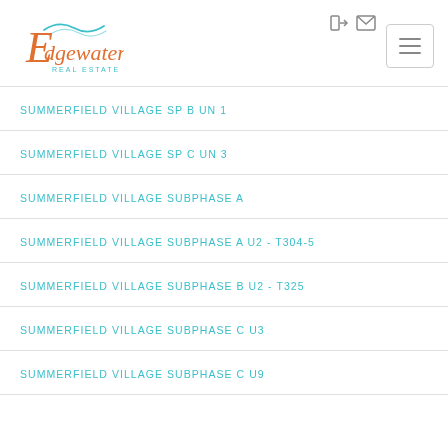[Figure (logo): Edgewater Real Estate logo in orange and teal script]
SUMMERFIELD VILLAGE SP B UN 1
SUMMERFIELD VILLAGE SP C UN 3
SUMMERFIELD VILLAGE SUBPHASE A
SUMMERFIELD VILLAGE SUBPHASE A U2 - T304-5
SUMMERFIELD VILLAGE SUBPHASE B U2 - T325
SUMMERFIELD VILLAGE SUBPHASE C U3
SUMMERFIELD VILLAGE SUBPHASE C U9